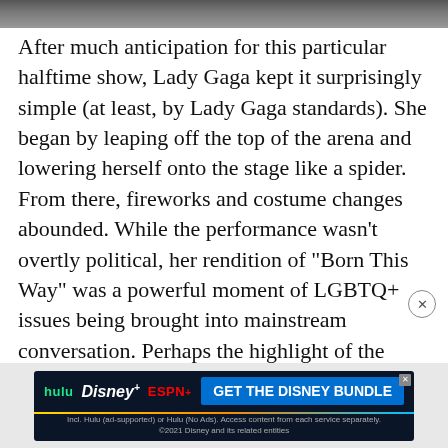[Figure (photo): Partial image strip at top of page showing a concert or performance scene]
After much anticipation for this particular halftime show, Lady Gaga kept it surprisingly simple (at least, by Lady Gaga standards). She began by leaping off the top of the arena and lowering herself onto the stage like a spider. From there, fireworks and costume changes abounded. While the performance wasn't overtly political, her rendition of "Born This Way" was a powerful moment of LGBTQ+ issues being brought into mainstream conversation. Perhaps the highlight of the show was when Gaga took to the piano and—surrounded by lanterns—sang a heartfelt rendition "Million Reasons."
[Figure (screenshot): Disney Bundle advertisement banner featuring Hulu, Disney+, and ESPN+ logos with call-to-action button]